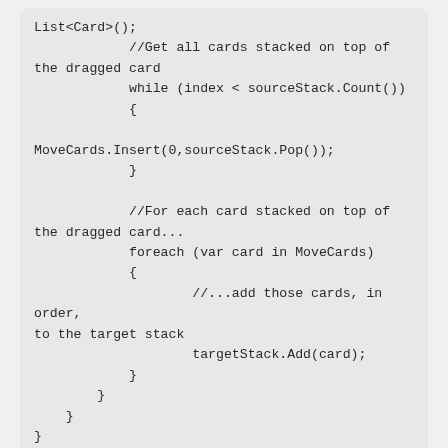List<Card>();
            //Get all cards stacked on top of the dragged card
            while (index < sourceStack.Count())
            {

MoveCards.Insert(0,sourceStack.Pop());
            }

            //For each card stacked on top of the dragged card...
            foreach (var card in MoveCards)
            {
                    //...add those cards, in order, to the target stack
                    targetStack.Add(card);
            }
        }
    }
}